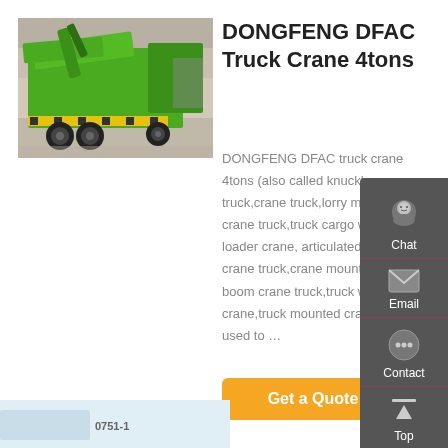[Figure (photo): Green DONGFENG DFAC garbage/crane truck at an exhibition, rear view showing the lifting mechanism, on a warehouse/exhibition floor]
DONGFENG DFAC Truck Crane 4tons
DONGFENG DFAC truck crane 4tons (also called knuckle crane truck,crane truck,lorry mounted crane truck,truck cargo with loader crane, articulated boom crane truck,crane mounted truck,boom crane truck,truck with crane,truck mounted crane. is used to …
[Figure (screenshot): Sidebar panel with dark gray background showing Chat, Email, Contact, and Top navigation icons]